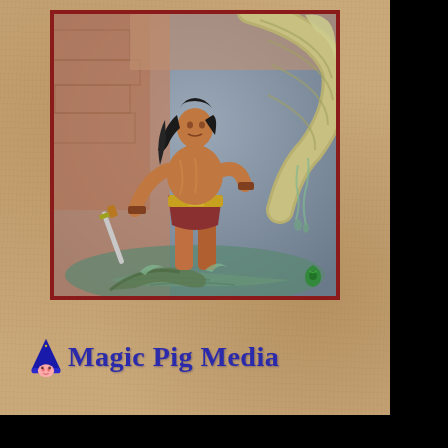[Figure (illustration): Fantasy illustration of a muscular barbarian warrior with long black hair, holding a sword, fighting a giant serpent/tentacle creature in a dungeon or cave setting with stone walls. Water or slime drips from a large curved claw/tentacle. A small green logo mark is visible in the bottom-right corner of the illustration.]
[Figure (logo): Magic Pig Media logo: a blue wizard hat with a small pig face icon, followed by the text 'Magic Pig Media' in blue cursive/rounded font]